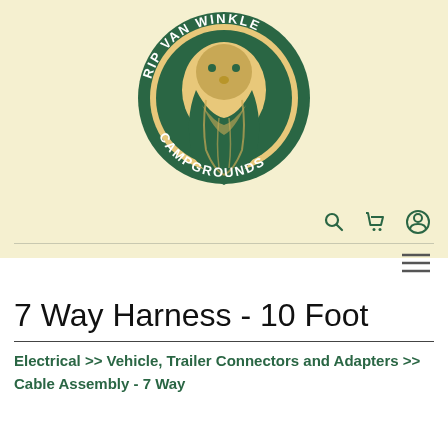[Figure (logo): Rip Van Winkle Campgrounds circular logo with a bearded man face illustration in green and gold/tan colors, with text around the border reading 'RIP VAN WINKLE CAMPGROUNDS']
7 Way Harness - 10 Foot
Electrical >> Vehicle, Trailer Connectors and Adapters >> Cable Assembly - 7 Way